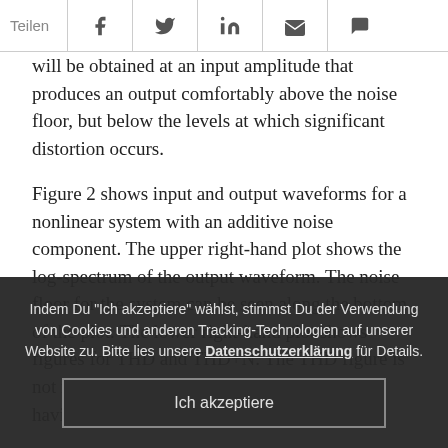Teilen
will be obtained at an input amplitude that produces an output comfortably above the noise floor, but below the levels at which significant distortion occurs.
Figure 2 shows input and output waveforms for a nonlinear system with an additive noise component. The upper right-hand plot shows the log-spectrum of the output waveform. The noise floor for the system can be seen along the bottom of the plot. The lower right-hand plot shows figures for THD and THD+N. The THD figure is not really affected by the presence of noise, having a
Indem Du "Ich akzeptiere" wählst, stimmst Du der Verwendung von Cookies und anderen Tracking-Technologien auf unserer Website zu. Bitte lies unsere Datenschutzerklärung für Details.
Ich akzeptiere